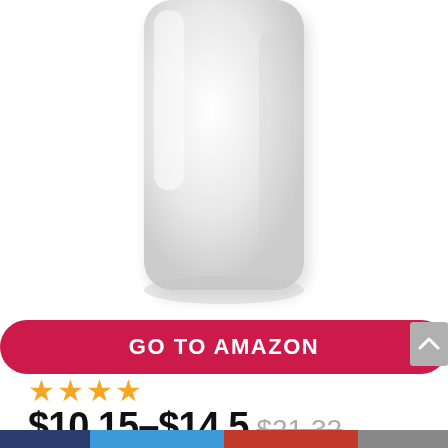[Figure (photo): A white plastic container or bottle, partially cropped, shown against a white background.]
GO TO AMAZON
★★★★
$10.15–$14.5 $21.32